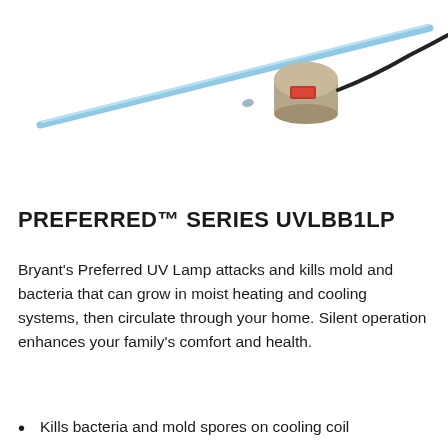[Figure (photo): UV lamp product photo showing a blue/light blue UV lamp tube with a beige/tan cylindrical mounting base and black power cord extending to the right, on white background]
PREFERRED™ SERIES UVLBB1LP
Bryant's Preferred UV Lamp attacks and kills mold and bacteria that can grow in moist heating and cooling systems, then circulate through your home. Silent operation enhances your family's comfort and health.
Kills bacteria and mold spores on cooling coil